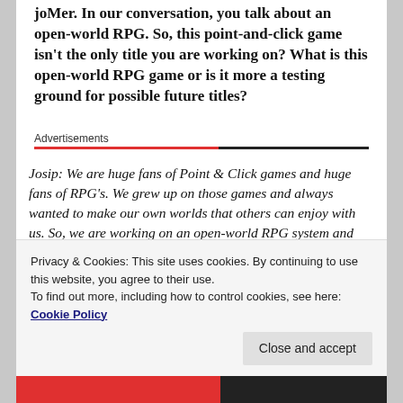joMer. In our conversation, you talk about an open-world RPG. So, this point-and-click game isn't the only title you are working on? What is this open-world RPG game or is it more a testing ground for possible future titles?
Advertisements
Josip: We are huge fans of Point & Click games and huge fans of RPG's. We grew up on those games and always wanted to make our own worlds that others can enjoy with us. So, we are working on an open-world RPG system and have stories and concepts, but, we
Privacy & Cookies: This site uses cookies. By continuing to use this website, you agree to their use.
To find out more, including how to control cookies, see here: Cookie Policy
Close and accept